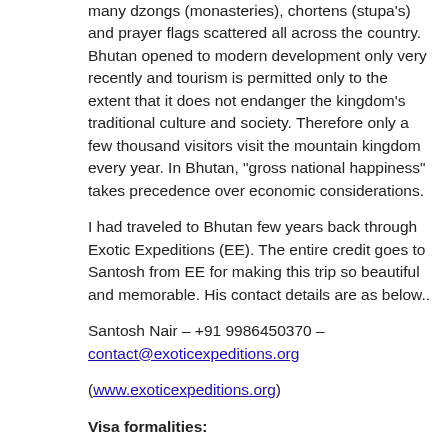many dzongs (monasteries), chortens (stupa's) and prayer flags scattered all across the country. Bhutan opened to modern development only very recently and tourism is permitted only to the extent that it does not endanger the kingdom's traditional culture and society. Therefore only a few thousand visitors visit the mountain kingdom every year. In Bhutan, "gross national happiness" takes precedence over economic considerations.
I had traveled to Bhutan few years back through Exotic Expeditions (EE). The entire credit goes to Santosh from EE for making this trip so beautiful and memorable. His contact details are as below..
Santosh Nair – +91 9986450370 – contact@exoticexpeditions.org
(www.exoticexpeditions.org)
Visa formalities:
Indian nationals intending to visit Bhutan are required to carry any